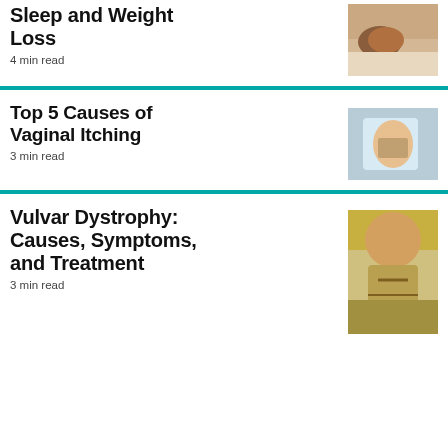Sleep and Weight Loss
4 min read
Top 5 Causes of Vaginal Itching
3 min read
Vulvar Dystrophy: Causes, Symptoms, and Treatment
3 min read